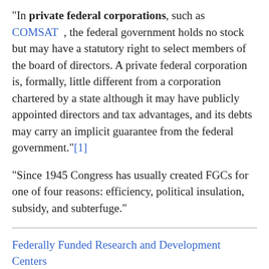"In private federal corporations, such as COMSAT , the federal government holds no stock but may have a statutory right to select members of the board of directors. A private federal corporation is, formally, little different from a corporation chartered by a state although it may have publicly appointed directors and tax advantages, and its debts may carry an implicit guarantee from the federal government."[1]
"Since 1945 Congress has usually created FGCs for one of four reasons: efficiency, political insulation, subsidy, and subterfuge."
Federally Funded Research and Development Centers (FFRDC) could possibly be considered another category of PFCs. Totally funded by the U.S. Government, actual administration of the entities are by an outside/non